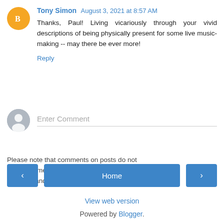Tony Simon August 3, 2021 at 8:57 AM
Thanks, Paul! Living vicariously through your vivid descriptions of being physically present for some live music-making -- may there be ever more!
Reply
[Figure (illustration): Orange circular Blogger avatar with white 'B' icon]
Enter Comment
[Figure (illustration): Gray circular user/person silhouette avatar]
Please note that comments on posts do not appear immediately - unfortunately we must filter for spam and other idiocy.
< Home >
View web version
Powered by Blogger.